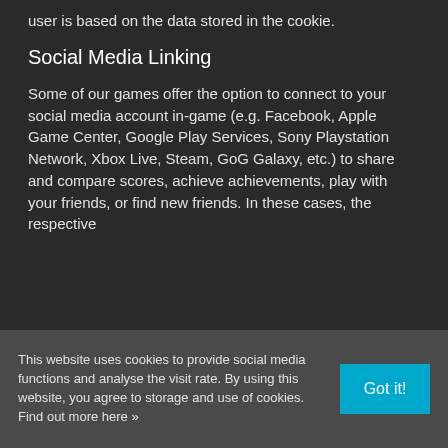user is based on the data stored in the cookie.
Social Media Linking
Some of our games offer the option to connect to your social media account in-game (e.g. Facebook, Apple Game Center, Google Play Services, Sony Playstation Network, Xbox Live, Steam, GoG Galaxy, etc.) to share and compare scores, achieve achievements, play with your friends, or find new friends. In these cases, the respective
This website uses cookies to provide social media functions and analyse the visit rate. By using this website, you agree to storage and use of cookies. Find out more here »